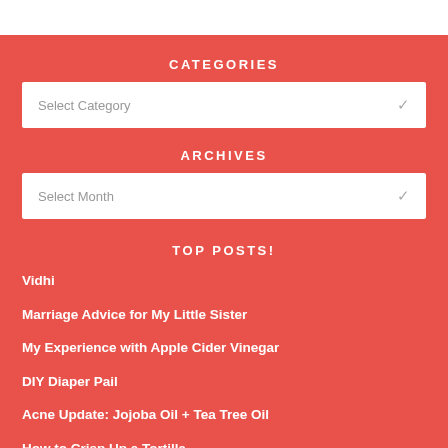CATEGORIES
Select Category
ARCHIVES
Select Month
TOP POSTS!
Vidhi
Marriage Advice for My Little Sister
My Experience with Apple Cider Vinegar
DIY Diaper Pail
Acne Update: Jojoba Oil + Tea Tree Oil
How to Crisp Up a Tortilla